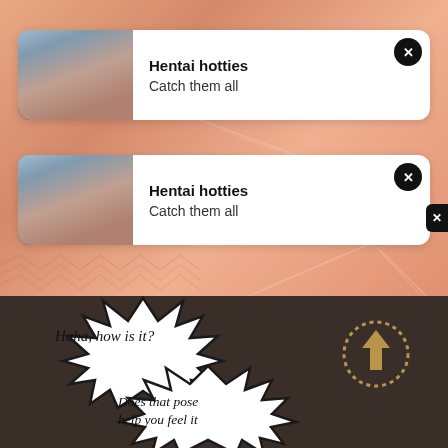[Figure (screenshot): Anime illustration background with salmon/peach tones visible behind notification cards]
Hentai hotties
Catch them all
Hentai hotties
Catch them all
[Figure (illustration): Dark brown manga panel background with spiky speech bubbles. Top bubble: 'Haha, how is it?' Bottom bubble: 'Does that pose help you feel it'. Dotted circle with arrow pointing up on the right side.]